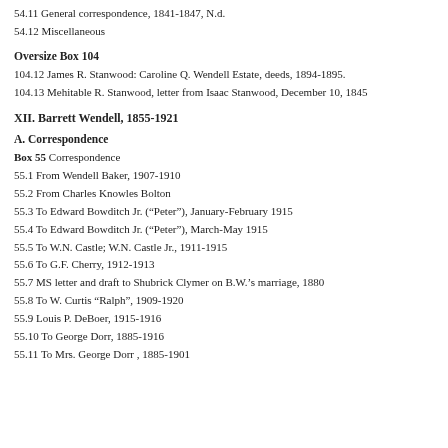54.11 General correspondence, 1841-1847, N.d.
54.12 Miscellaneous
Oversize Box 104
104.12 James R. Stanwood: Caroline Q. Wendell Estate, deeds, 1894-1895.
104.13 Mehitable R. Stanwood, letter from Isaac Stanwood, December 10, 1845
XII. Barrett Wendell, 1855-1921
A. Correspondence
Box 55 Correspondence
55.1 From Wendell Baker, 1907-1910
55.2 From Charles Knowles Bolton
55.3 To Edward Bowditch Jr. (“Peter”), January-February 1915
55.4 To Edward Bowditch Jr. (“Peter”), March-May 1915
55.5 To W.N. Castle; W.N. Castle Jr., 1911-1915
55.6 To G.F. Cherry, 1912-1913
55.7 MS letter and draft to Shubrick Clymer on B.W.'s marriage, 1880
55.8 To W. Curtis “Ralph”, 1909-1920
55.9 Louis P. DeBoer, 1915-1916
55.10 To George Dorr, 1885-1916
55.11 To Mrs. George Dorr , 1885-1901